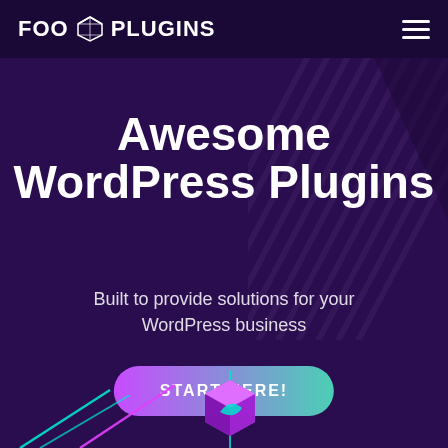FOO PLUGINS
Awesome WordPress Plugins
Built to provide solutions for your WordPress business
START HERE!
[Figure (illustration): Decorative 3D plugin box icon with colorful lines at bottom, diagonal stripe pattern on right side of hero background]